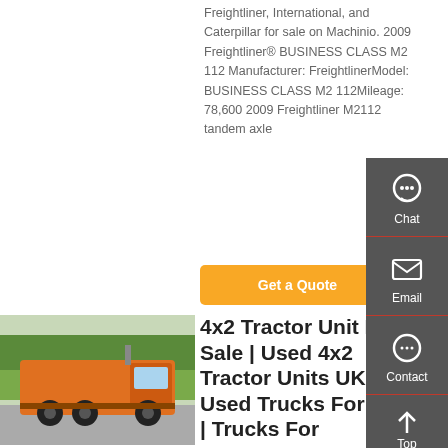Freightliner, International, and Caterpillar for sale on Machinio. 2009 Freightliner® BUSINESS CLASS M2 112 Manufacturer: FreightlinerModel: BUSINESS CLASS M2 112Mileage: 78,600 2009 Freightliner M2112 tandem axle
[Figure (other): Orange button labeled Get a Quote]
[Figure (photo): Orange 4x2 tractor truck parked outdoors with trees in background]
4x2 Tractor Unit For Sale | Used 4x2 Tractor Units UK - Used Trucks For Sale | Trucks For